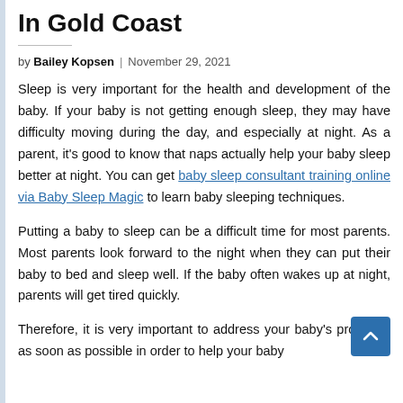In Gold Coast
by Bailey Kopsen | November 29, 2021
Sleep is very important for the health and development of the baby. If your baby is not getting enough sleep, they may have difficulty moving during the day, and especially at night. As a parent, it's good to know that naps actually help your baby sleep better at night. You can get baby sleep consultant training online via Baby Sleep Magic to learn baby sleeping techniques.
Putting a baby to sleep can be a difficult time for most parents. Most parents look forward to the night when they can put their baby to bed and sleep well. If the baby often wakes up at night, parents will get tired quickly.
Therefore, it is very important to address your baby's problems as soon as possible in order to help your baby